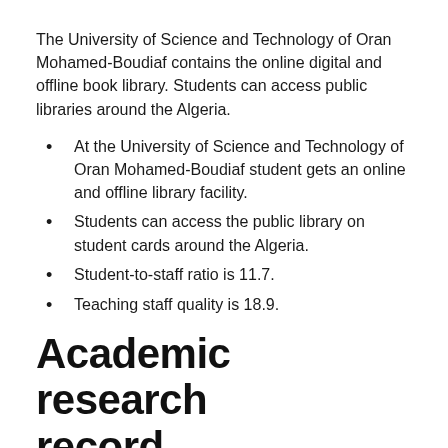The University of Science and Technology of Oran Mohamed-Boudiaf contains the online digital and offline book library. Students can access public libraries around the Algeria.
At the University of Science and Technology of Oran Mohamed-Boudiaf student gets an online and offline library facility.
Students can access the public library on student cards around the Algeria.
Student-to-staff ratio is 11.7.
Teaching staff quality is 18.9.
Academic research record
A number of local and international students study in the University of Science and Technology of Oran